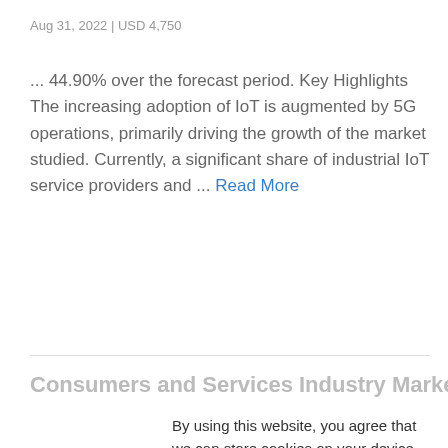Aug 31, 2022 | USD 4,750
... 44.90% over the forecast period. Key Highlights The increasing adoption of IoT is augmented by 5G operations, primarily driving the growth of the market studied. Currently, a significant share of industrial IoT service providers and ... Read More
By using this website, you agree that we can store cookies on your device.
We use cookies to improve the user experience, personalize your visit, and compile aggregate statistics.
More information can be found in our
Privacy Policy .
Accept
Decline